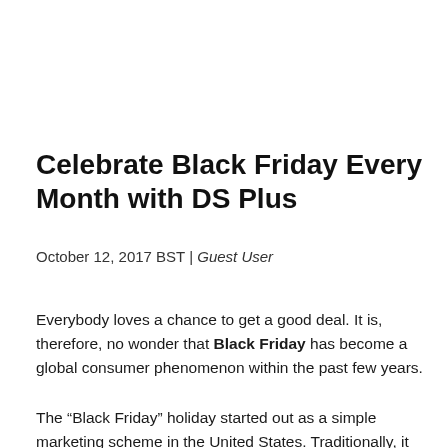Celebrate Black Friday Every Month with DS Plus
October 12, 2017 BST | Guest User
Everybody loves a chance to get a good deal. It is, therefore, no wonder that Black Friday has become a global consumer phenomenon within the past few years.
The “Black Friday” holiday started out as a simple marketing scheme in the United States. Traditionally, it takes place on the